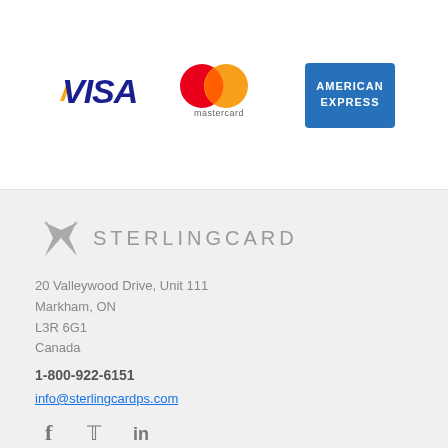[Figure (logo): VISA logo in blue italic bold text with yellow accent]
[Figure (logo): Mastercard logo with red and orange overlapping circles and 'mastercard' text below]
[Figure (logo): American Express logo in blue rectangle with white text]
[Figure (logo): SterlingCard logo with grey propeller/star icon and grey uppercase text]
20 Valleywood Drive, Unit 111
Markham, ON
L3R 6G1
Canada
1-800-922-6151
info@sterlingcardps.com
[Figure (other): Social media icons: Facebook (f), Twitter (bird), LinkedIn (in)]